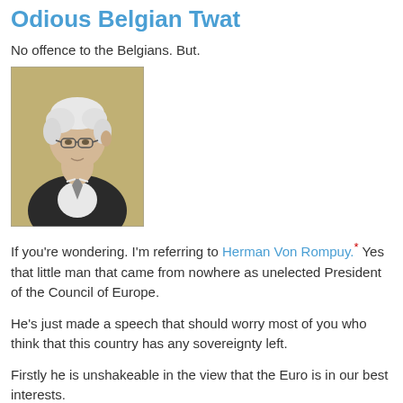Odious Belgian Twat
No offence to the Belgians. But.
[Figure (photo): Photograph of Herman Von Rompuy, an elderly man with white hair and glasses, wearing a dark suit, photographed from the side/three-quarter view]
If you're wondering. I'm referring to Herman Von Rompuy.* Yes that little man that came from nowhere as unelected President of the Council of Europe.
He's just made a speech that should worry most of you who think that this country has any sovereignty left.
Firstly he is unshakeable in the view that the Euro is in our best interests.